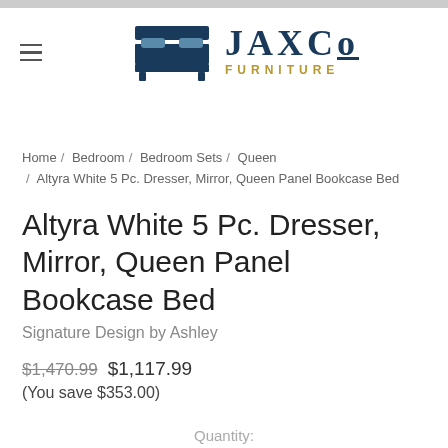[Figure (logo): JAXCo Furniture logo with bed icon on left and stylized serif text 'JAXCo' in dark navy, 'FURNITURE' in gold below]
Home / Bedroom / Bedroom Sets / Queen / Altyra White 5 Pc. Dresser, Mirror, Queen Panel Bookcase Bed
Altyra White 5 Pc. Dresser, Mirror, Queen Panel Bookcase Bed
Signature Design by Ashley
$1,470.99 $1,117.99
(You save $353.00)
Quantity: